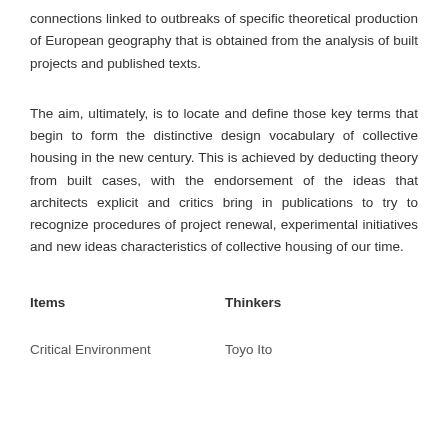connections linked to outbreaks of specific theoretical production of European geography that is obtained from the analysis of built projects and published texts.
The aim, ultimately, is to locate and define those key terms that begin to form the distinctive design vocabulary of collective housing in the new century. This is achieved by deducting theory from built cases, with the endorsement of the ideas that architects explicit and critics bring in publications to try to recognize procedures of project renewal, experimental initiatives and new ideas characteristics of collective housing of our time.
| Items | Thinkers |
| --- | --- |
| Critical Environment | Toyo Ito |